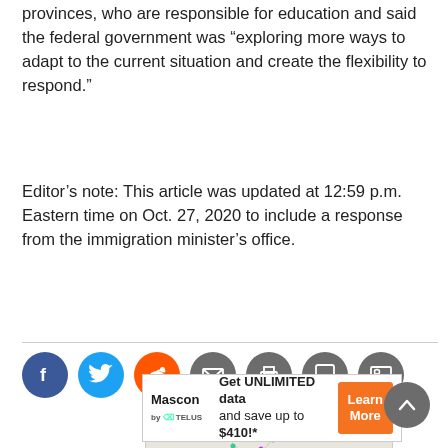provinces, who are responsible for education and said the federal government was “exploring more ways to adapt to the current situation and create the flexibility to respond.”
Editor’s note: This article was updated at 12:59 p.m. Eastern time on Oct. 27, 2020 to include a response from the immigration minister’s office.
[Figure (infographic): Social sharing icons: Facebook (blue), Twitter (light blue), Reddit (orange), Email (gray), Print (gray), Comment (gray), Image (gray)]
[Figure (infographic): Advertisement banner showing JOB text in large green letters with colorful circular logo above, and a Mascon by TELUS ad below offering unlimited data and save up to $410 with a Learn More orange button]